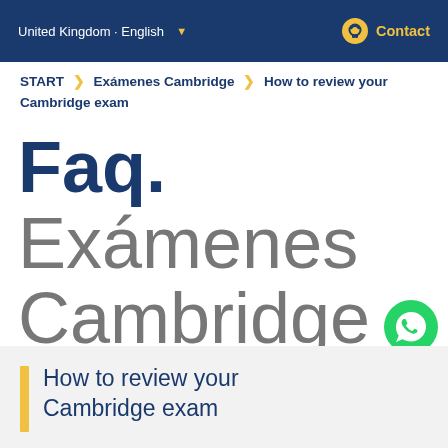United Kingdom · English   Contact
START > Exámenes Cambridge > How to review your Cambridge exam
Faq. Exámenes Cambridge
[Figure (logo): WhatsApp contact button (green circle with phone icon)]
How to review your Cambridge exam